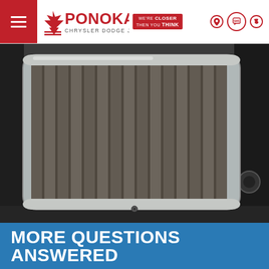Ponoka Chrysler Dodge Jeep Ram — We're Closer Than You Think
[Figure (photo): Close-up photo of a dirty/clogged rectangular engine air filter with pleated grey filter media, heavily covered in dust and debris, sitting in an engine bay.]
MORE QUESTIONS ANSWERED